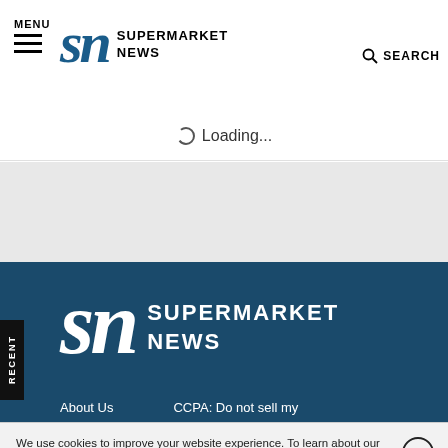MENU | SN SUPERMARKET NEWS | SEARCH
Loading...
[Figure (logo): Supermarket News logo on dark blue background with SN letters and SUPERMARKET NEWS text in white]
About Us    CCPA: Do not sell my
We use cookies to improve your website experience. To learn about our use of cookies and how you can manage your cookie settings, please see our Cookie Policy. By continuing to use the website, you consent to our use of cookies.